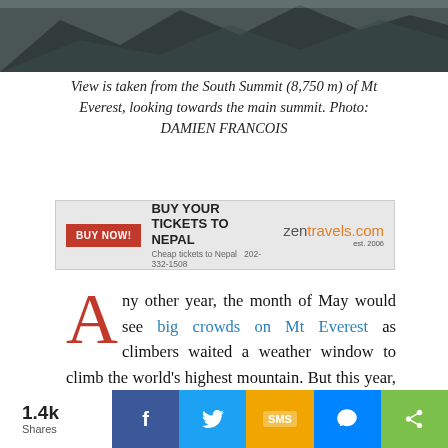[Figure (photo): Mountain photo showing rocky snowy peaks, partial view at top of page]
View is taken from the South Summit (8,750 m) of Mt Everest, looking towards the main summit. Photo: DAMIEN FRANCOIS
[Figure (infographic): Advertisement banner: BUY NOW! BUY YOUR TICKETS TO NEPAL - zentravels.com est. 2006 - Cheap tickets to Nepal 202-332-1508]
Any other year, the month of May would see big crowds on Mt Everest as climbers waited a weather window to climb the world's highest mountain. But this year, the COVID-19 lockdown means the mountain is deserted.
The lone Chinese survey expedition from the
1.4k Shares